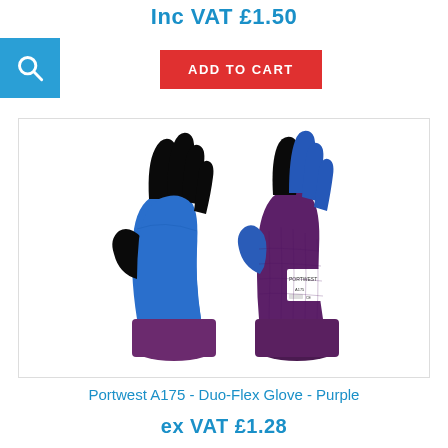Inc VAT £1.50
[Figure (illustration): Blue and purple Portwest A175 Duo-Flex safety gloves, showing front and back views. The gloves have blue nitrile coating on the palm and fingers with black fingertips, and purple knit backing.]
Portwest A175 - Duo-Flex Glove - Purple
ex VAT £1.28